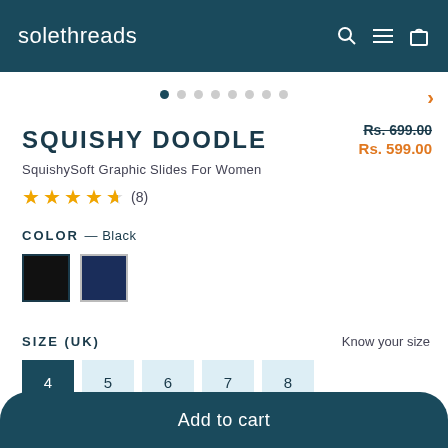solethreads
[Figure (screenshot): Image carousel dots navigation with 8 dots (first active) and right arrow]
SQUISHY DOODLE
Rs. 699.00
Rs. 599.00
SquishySoft Graphic Slides For Women
★★★★½ (8)
COLOR — Black
[Figure (illustration): Two color swatches: black (selected, with border) and navy blue]
SIZE (UK)
Know your size
4  5  6  7  8
Add to cart